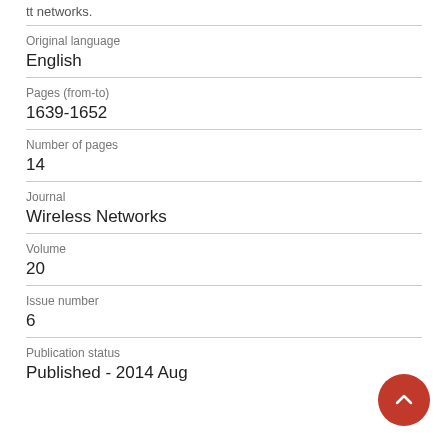tt networks.
Original language
English
Pages (from-to)
1639-1652
Number of pages
14
Journal
Wireless Networks
Volume
20
Issue number
6
Publication status
Published - 2014 Aug